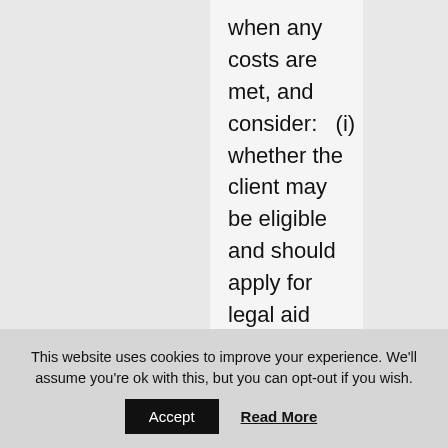when any costs are met, and consider:   (i) whether the client may be eligible and should apply for legal aid (including advice and assistance);   (ii) whether the client's liability for their own costs may be covered by insurance;   (iii) whether the client's liability for another party's costs may be covered by pre-purchased insurance and, if not, whether it would be
This website uses cookies to improve your experience. We'll assume you're ok with this, but you can opt-out if you wish.